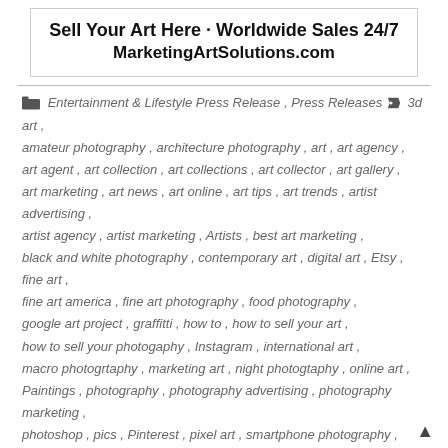[Figure (other): Banner advertisement: 'Sell Your Art Here - Worldwide Sales 24/7 MarketingArtSolutions.com']
Entertainment & Lifestyle Press Release, Press Releases, 3d art, amateur photography, architecture photography, art, art agency, art agent, art collection, art collections, art collector, art gallery, art marketing, art news, art online, art tips, art trends, artist advertising, artist agency, artist marketing, Artists, best art marketing, black and white photography, contemporary art, digital art, Etsy, fine art, fine art america, fine art photography, food photography, google art project, graffitti, how to, how to sell your art, how to sell your photogaphy, Instagram, international art, macro photogrtaphy, marketing art, night photogtaphy, online art, Paintings, photography, photography advertising, photography marketing, photoshop, pics, Pinterest, pixel art, smartphone photography, social media photography, stock photogaphy, street art, travel photography, urban photography, vintage photography, visual art